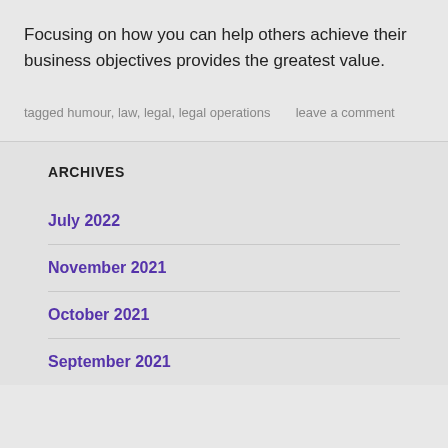Focusing on how you can help others achieve their business objectives provides the greatest value.
tagged humour, law, legal, legal operations     leave a comment
ARCHIVES
July 2022
November 2021
October 2021
September 2021